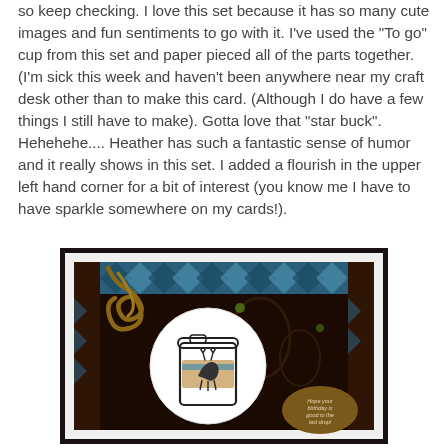so keep checking. I love this set because it has so many cute images and fun sentiments to go with it. I've used the "To go" cup from this set and paper pieced all of the parts together. (I'm sick this week and haven't been anywhere near my craft desk other than to make this card. (Although I do have a few things I still have to make). Gotta love that "star buck". Hehehehe.... Heather has such a fantastic sense of humor and it really shows in this set. I added a flourish in the upper left hand corner for a bit of interest (you know me I have to have sparkle somewhere on my cards!).
[Figure (photo): A handmade greeting card featuring a coffee 'to go' cup stamped image on a white circle, mounted on brown and blue patterned cardstock with a decorative flourish in the upper left corner and a sentiment bubble in the lower right.]